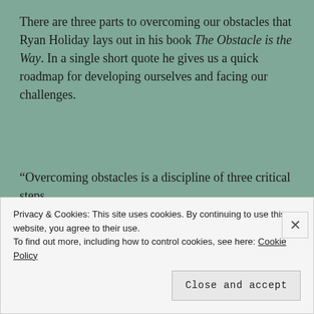There are three parts to overcoming our obstacles that Ryan Holiday lays out in his book The Obstacle is the Way. In a single short quote he gives us a quick roadmap for developing ourselves and facing our challenges.
“Overcoming obstacles is a discipline of three critical steps.
	It begins with how we look at our specific problems, our attitude or approach; then the energy and creativity with which we actively break them down and turn them into opportunities; finally, the cultivation and
Privacy & Cookies: This site uses cookies. By continuing to use this website, you agree to their use.
To find out more, including how to control cookies, see here: Cookie Policy

Close and accept